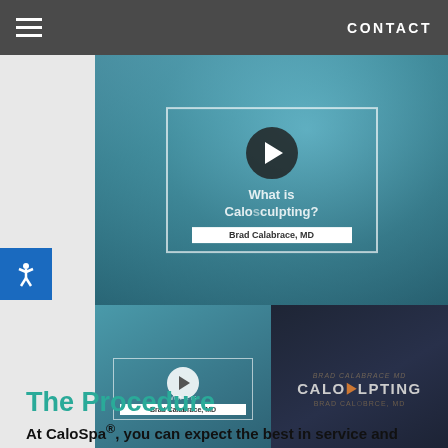CONTACT
[Figure (screenshot): Video carousel showing CaloSculpting procedure videos by Brad Calabrace, MD. Main large video thumbnail with play button and title 'What is CaloSculpting?' with name bar 'Brad Calabrace, MD'. Below are two smaller thumbnails: left shows same video smaller, right shows CaloSculpting logo with Brad Calabrace MD branding. Navigation arrows on left and right sides.]
The Procedure
At CaloSpa®, you can expect the best in service and